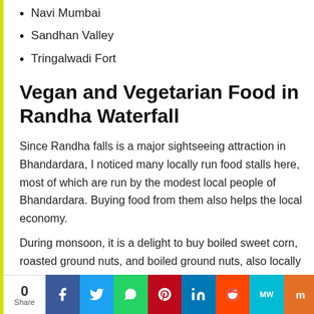Navi Mumbai
Sandhan Valley
Tringalwadi Fort
Vegan and Vegetarian Food in Randha Waterfall
Since Randha falls is a major sightseeing attraction in Bhandardara, I noticed many locally run food stalls here, most of which are run by the modest local people of Bhandardara. Buying food from them also helps the local economy.
During monsoon, it is a delight to buy boiled sweet corn, roasted ground nuts, and boiled ground nuts, also locally known as seengdana. The hot piping cutting chai or ginger tea adds to the delight of the tourists, especially on a weekend in rainy season.